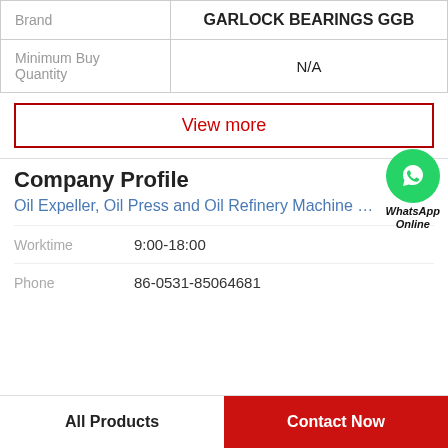|  |  |
| --- | --- |
| Brand | GARLOCK BEARINGS GGB |
| Minimum Buy Quantity | N/A |
View more
Company Profile
Oil Expeller, Oil Press and Oil Refinery Machine …
Worktime    9:00-18:00
Phone    86-0531-85064681
All Products
Contact Now